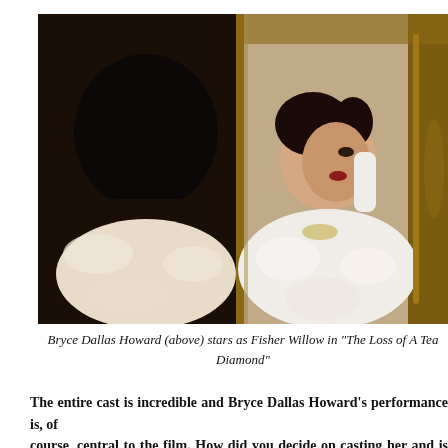[Figure (photo): A woman with dark upswept hair viewed from behind looking into a gold-framed mirror; her reflection shows her face in profile wearing a white feathered wrap and long white gloves, touching her ear. The setting appears to be a 1920s/30s glamour scene.]
Bryce Dallas Howard (above) stars as Fisher Willow in "The Loss of A Teardrop Diamond"
The entire cast is incredible and Bryce Dallas Howard's performance is, of course, central to the film. How did you decide on casting her and is the story about Lindsay Lohan originally being cast — or wanting the role — true